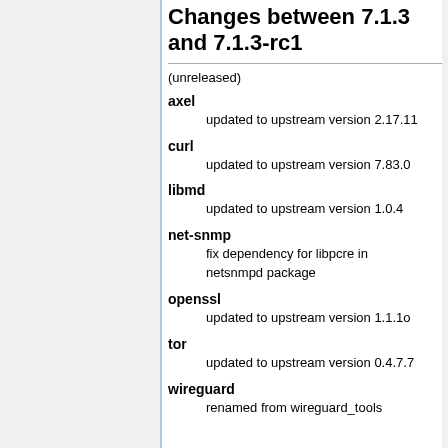Changes between 7.1.3 and 7.1.3-rc1
(unreleased)
axel
updated to upstream version 2.17.11
curl
updated to upstream version 7.83.0
libmd
updated to upstream version 1.0.4
net-snmp
fix dependency for libpcre in netsnmpd package
openssl
updated to upstream version 1.1.1o
tor
updated to upstream version 0.4.7.7
wireguard
renamed from wireguard_tools